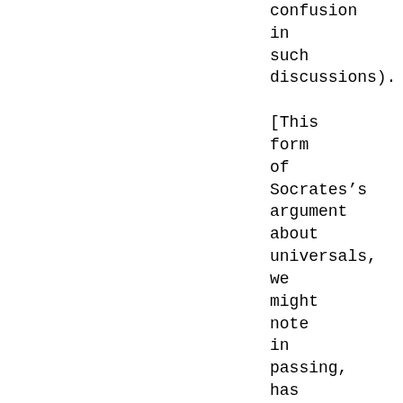confusion in such discussions).

[This form of Socrates’s argument about universals, we might note in passing, has provided the justification for